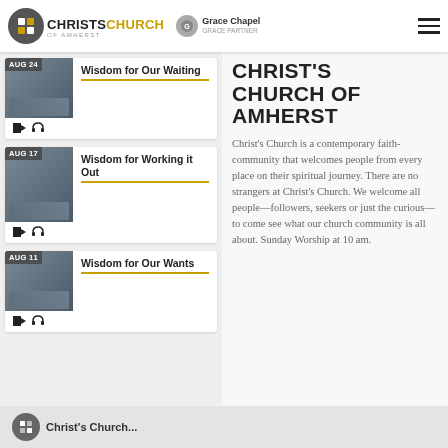Christ's Church of Amherst | Grace Chapel
[Figure (screenshot): Christ's Church of Amherst logo with gray circle icon and two-tone text, alongside Grace Chapel partnership logo]
AUG 24
Wisdom for Our Waiting
AUG 17
Wisdom for Working it Out
AUG 11
Wisdom for Our Wants
CHRIST'S CHURCH OF AMHERST
Christ's Church is a contemporary faith-community that welcomes people from every place on their spiritual journey. There are no strangers at Christ's Church. We welcome all people—followers, seekers or just the curious—to come see what our church community is all about. Sunday Worship at 10 am.